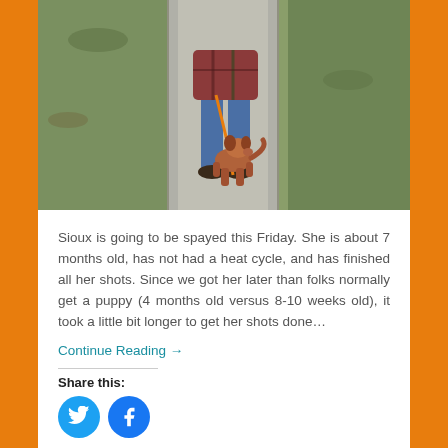[Figure (photo): Person walking a brown dog on an orange leash along a sidewalk, viewed from above. Person is wearing a plaid shirt, blue jeans, and dark shoes. Grassy areas on either side of the path.]
Sioux is going to be spayed this Friday. She is about 7 months old, has not had a heat cycle, and has finished all her shots. Since we got her later than folks normally get a puppy (4 months old versus 8-10 weeks old), it took a little bit longer to get her shots done…
Continue Reading →
Share this: